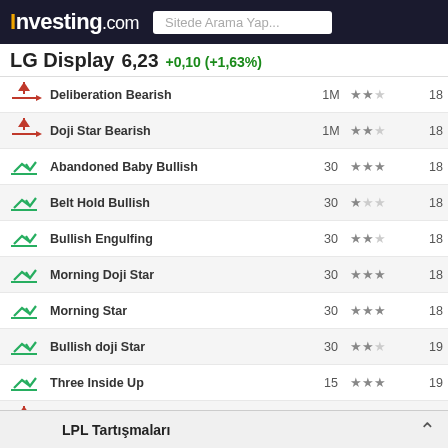Investing.com | Sitede Arama Yap...
LG Display  6,23  +0,10 (+1,63%)
| Icon | Pattern | Period | Reliability | Candle |
| --- | --- | --- | --- | --- |
| ↑↓ bearish | Deliberation Bearish | 1M | ★★☆ | 18 |
| ↑↓ bearish | Doji Star Bearish | 1M | ★★☆ | 18 |
| ✓ bullish | Abandoned Baby Bullish | 30 | ★★★ | 18 |
| ✓ bullish | Belt Hold Bullish | 30 | ★☆☆ | 18 |
| ✓ bullish | Bullish Engulfing | 30 | ★★☆ | 18 |
| ✓ bullish | Morning Doji Star | 30 | ★★★ | 18 |
| ✓ bullish | Morning Star | 30 | ★★★ | 18 |
| ✓ bullish | Bullish doji Star | 30 | ★★☆ | 19 |
| ✓ bullish | Three Inside Up | 15 | ★★★ | 19 |
| ↑↓ bearish | Belt Hold Bearish | 30 | ★☆☆ | 20 |
| ↑↓ bearish | Engulfing Bearish | 30 | ★★☆ | 20 |
| ✓ bullish | Harami Cross | 15 | ★☆☆ | 20 |
| ✓ bullish | Harami Bullish | 15 | ★☆☆ | 20 |
| ↑↓ bearish | Hanging Man | 1D | ★☆☆ | 21 |
| ✓ bullish | Belt Hold | — | — | — |
LPL Tartışmaları